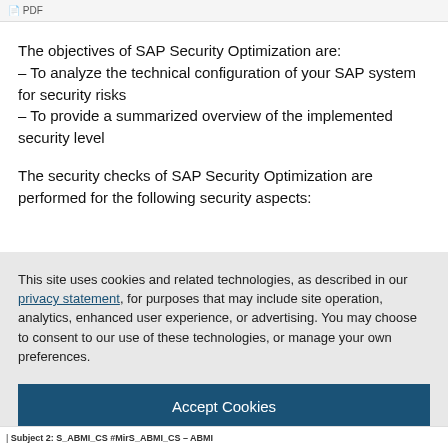PDF
The objectives of SAP Security Optimization are:
– To analyze the technical configuration of your SAP system for security risks
– To provide a summarized overview of the implemented security level
The security checks of SAP Security Optimization are performed for the following security aspects:
This site uses cookies and related technologies, as described in our privacy statement, for purposes that may include site operation, analytics, enhanced user experience, or advertising. You may choose to consent to our use of these technologies, or manage your own preferences.
Accept Cookies
More Information
Privacy Policy | Powered by: TrustArc
| Subject 2: S_ABMI_CS #MirS_ABMI_CS – ABMI